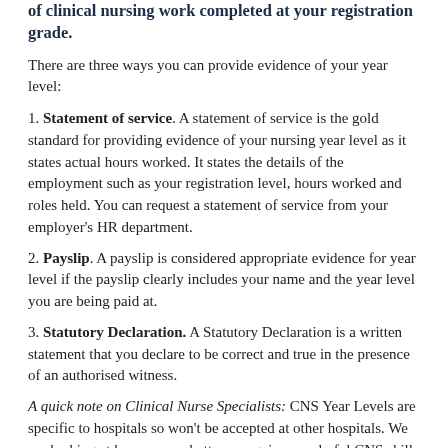of clinical nursing work completed at your registration grade.
There are three ways you can provide evidence of your year level:
1. Statement of service. A statement of service is the gold standard for providing evidence of your nursing year level as it states actual hours worked. It states the details of the employment such as your registration level, hours worked and roles held. You can request a statement of service from your employer's HR department.
2. Payslip. A payslip is considered appropriate evidence for year level if the payslip clearly includes your name and the year level you are being paid at.
3. Statutory Declaration. A Statutory Declaration is a written statement that you declare to be correct and true in the presence of an authorised witness.
A quick note on Clinical Nurse Specialists: CNS Year Levels are specific to hospitals so won't be accepted at other hospitals. We are looking at how we can better recognise wonderful CNS skills across multiple facilities. But in the meantime, you'll need a